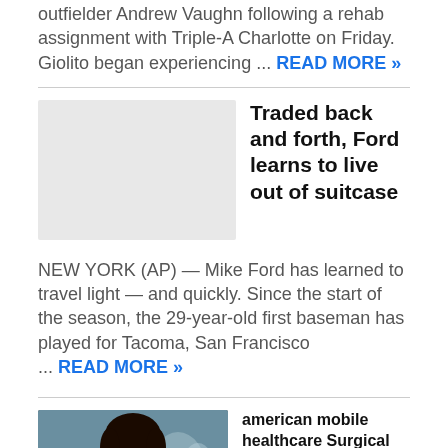outfielder Andrew Vaughn following a rehab assignment with Triple-A Charlotte on Friday. Giolito began experiencing … READ MORE »
[Figure (photo): Gray placeholder image for article thumbnail]
Traded back and forth, Ford learns to live out of suitcase
NEW YORK (AP) — Mike Ford has learned to travel light — and quickly. Since the start of the season, the 29-year-old first baseman has played for Tacoma, San Francisco … READ MORE »
[Figure (photo): Photo of a smiling woman in blue scrubs holding a clipboard, with medical staff in background. Sponsored label visible.]
american mobile healthcare Surgical Assistant/Technologist Jobs in Ashburn Apply Now
get.it
[Figure (photo): Partial bottom image strip visible, orange/brown tones]